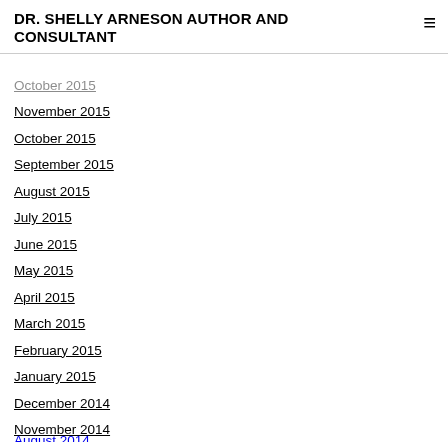DR. SHELLY ARNESON AUTHOR AND CONSULTANT
October 2015
November 2015
October 2015
September 2015
August 2015
July 2015
June 2015
May 2015
April 2015
March 2015
February 2015
January 2015
December 2014
November 2014
October 2014
September 2014
August 2014